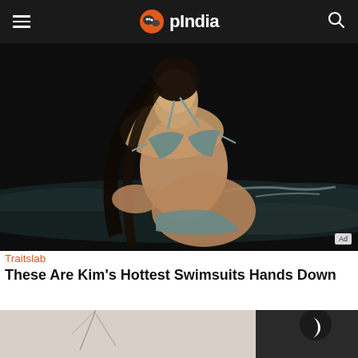OpIndia
[Figure (photo): Woman in blue-grey bikini posing on a beach at night with ocean waves in background. Ad badge in bottom right corner.]
Traitslab
These Are Kim's Hottest Swimsuits Hands Down
[Figure (photo): Partial view of a second article image, showing a room interior with a dark frame visible on right side, and a dark moon/night mode toggle button overlay.]